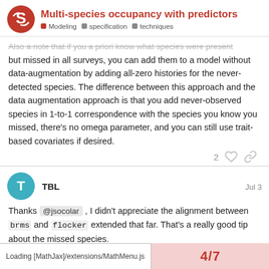Multi-species occupancy with predictors — Modeling, specification, techniques
Also a note that if you a priori know what species were present but missed in all surveys, you can add them to a model without data-augmentation by adding all-zero histories for the never-detected species. The difference between this approach and the data augmentation approach is that you add never-observed species in 1-to-1 correspondence with the species you know you missed, there's no omega parameter, and you can still use trait-based covariates if desired.
2 ♡ 🔗
TBL — Jul 3
Thanks @jsocolar, I didn't appreciate the alignment between brms and flocker extended that far. That's a really good tip about the missed species.
Loading [MathJax]/extensions/MathMenu.js  4 / 7